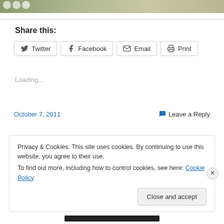[Figure (photo): Top image strip showing partial nature/landscape photo with social icon overlays]
Share this:
[Figure (infographic): Social share buttons: Twitter, Facebook, Email, Print]
Loading...
October 7, 2011    💬 Leave a Reply
Privacy & Cookies: This site uses cookies. By continuing to use this website, you agree to their use.
To find out more, including how to control cookies, see here: Cookie Policy